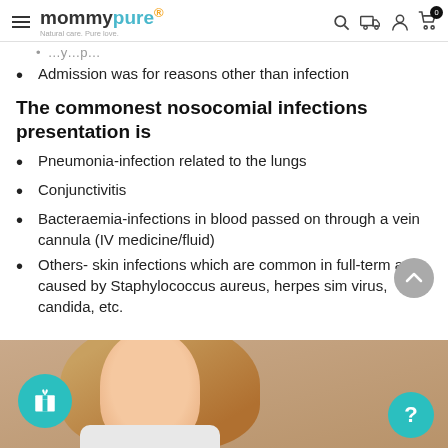mommypure® — Natural care. Pure love.
Admission was for reasons other than infection
The commonest nosocomial infections presentation is
Pneumonia-infection related to the lungs
Conjunctivitis
Bacteraemia-infections in blood passed on through a vein cannula (IV medicine/fluid)
Others- skin infections which are common in full-term and caused by Staphylococcus aureus, herpes simplex virus, candida, etc.
[Figure (photo): Partial photo of a woman with blonde hair, shown from neck up, background appears to be light colored. UI overlay shows gift button (teal circle with gift icon) at bottom left and help button (teal circle with ? icon) at bottom right.]